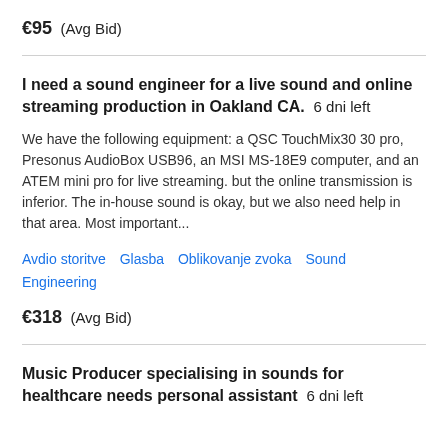€95  (Avg Bid)
I need a sound engineer for a live sound and online streaming production in Oakland CA.  6 dni left
We have the following equipment: a QSC TouchMix30 30 pro, Presonus AudioBox USB96, an MSI MS-18E9 computer, and an ATEM mini pro for live streaming. but the online transmission is inferior. The in-house sound is okay, but we also need help in that area. Most important...
Avdio storitve   Glasba   Oblikovanje zvoka   Sound Engineering
€318  (Avg Bid)
Music Producer specialising in sounds for healthcare needs personal assistant  6 dni left